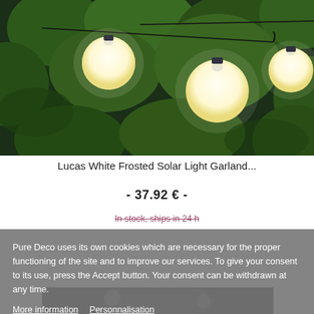[Figure (photo): String of round frosted white globe lights hanging among green leaves, outdoor garden party lights on black wire]
Lucas White Frosted Solar Light Garland...
- 37.92 € -
In stock, ships in 24 h
Pure Deco uses its own cookies which are necessary for the proper functioning of the site and to improve our services. To give your consent to its use, press the Accept button. Your consent can be withdrawn at any time.
More information   Personnalisation
I ACCEPT
[Figure (photo): Partially visible product image below cookie banner showing candles or lights in dark background]